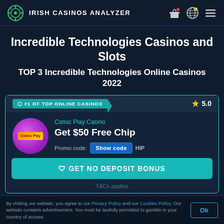IRISH CASINOS ANALYZER
Incredible Technologies Casinos and Slots
TOP 3 Incredible Technologies Online Casinos 2022
#1 OF TOP ONLINE CASINOS  ★ 5.0
Comic Play Casino
Get $50 Free Chip
Promo code: Show code HIP
GET NO DEPOSIT BONUS
T&Cs applies
By visiting our website, you agree to our Privacy Policy and our Cookies Policy. Our website contains advertisement. You must be lawfully permitted to gamble in your country of access.